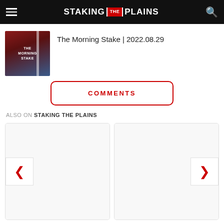STAKING THE PLAINS
[Figure (screenshot): Article thumbnail showing The Morning Stake podcast cover art with red-clad figures on horseback]
The Morning Stake | 2022.08.29
COMMENTS
ALSO ON STAKING THE PLAINS
[Figure (screenshot): Left article card placeholder (empty/loading)]
[Figure (screenshot): Right article card placeholder (empty/loading)]